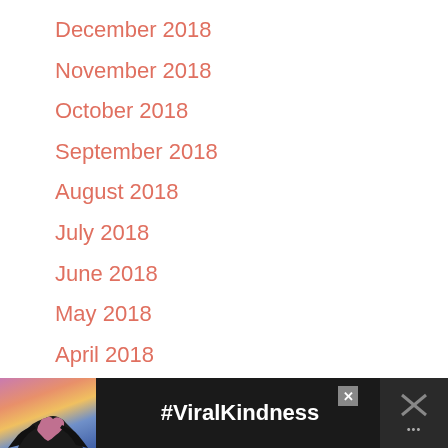December 2018
November 2018
October 2018
September 2018
August 2018
July 2018
June 2018
May 2018
April 2018
March 2018
February 2018
January 2018
[Figure (photo): Advertisement banner showing silhouette of hands forming a heart shape against a purple/orange sunset sky, with text '#ViralKindness' and close buttons]